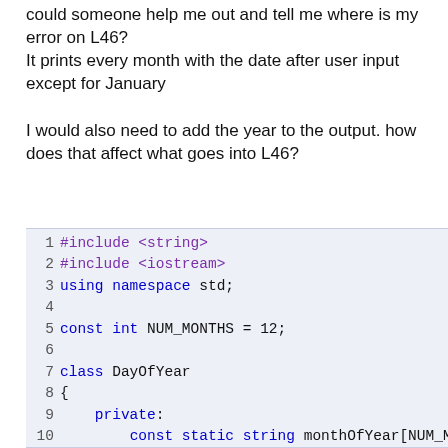could someone help me out and tell me where is my error on L46?
It prints every month with the date after user input except for January
I would also need to add the year to the output. how does that affect what goes into L46?
[Figure (screenshot): C++ code snippet showing lines 1-15 of a DayOfYear class implementation with #include directives, namespace, const int, class definition, private members and public section]